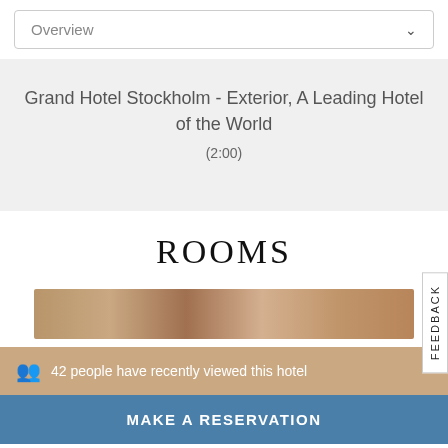Overview ∨
Grand Hotel Stockholm - Exterior, A Leading Hotel of the World
(2:00)
ROOMS
[Figure (photo): Hotel room image strip]
42 people have recently viewed this hotel
MAKE A RESERVATION
FEEDBACK